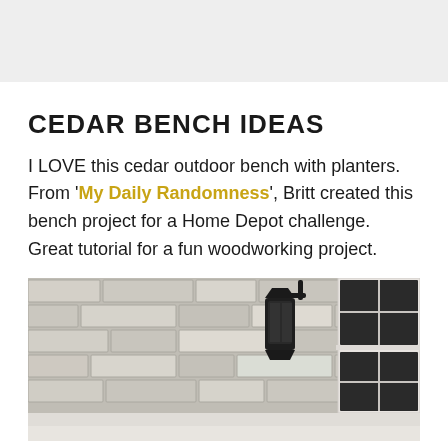CEDAR BENCH IDEAS
I LOVE this cedar outdoor bench with planters. From 'My Daily Randomness', Britt created this bench project for a Home Depot challenge. Great tutorial for a fun woodworking project.
[Figure (photo): Exterior photo showing a stone brick wall with a black lantern wall-mounted light fixture and a white window frame visible on the right side. Bottom shows a reflective light-colored surface.]